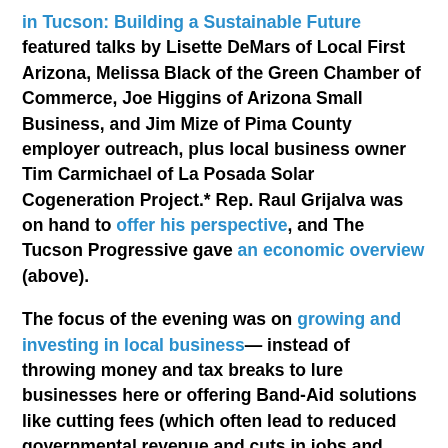in Tucson: Building a Sustainable Future featured talks by Lisette DeMars of Local First Arizona, Melissa Black of the Green Chamber of Commerce, Joe Higgins of Arizona Small Business, and Jim Mize of Pima County employer outreach, plus local business owner Tim Carmichael of La Posada Solar Cogeneration Project.* Rep. Raul Grijalva was on hand to offer his perspective, and The Tucson Progressive gave an economic overview (above).
The focus of the evening was on growing and investing in local business— instead of throwing money and tax breaks to lure businesses here or offering Band-Aid solutions like cutting fees (which often lead to reduced governmental revenue and cuts in jobs and services).
Although the right-wing blog Tucson Choices dissed PDA's local business focus and dismissed the group as a bunch